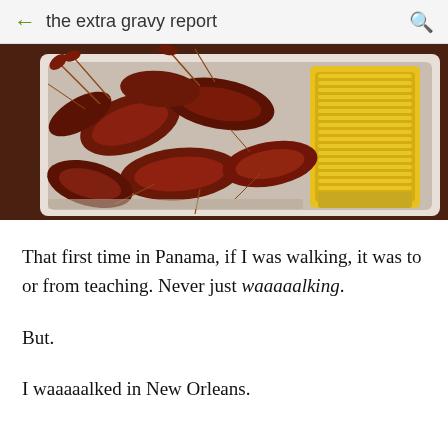the extra gravy report
[Figure (photo): A styrofoam container filled with boiled crawfish and a cob of yellow corn.]
That first time in Panama, if I was walking, it was to or from teaching. Never just waaaaalking.
But.
I waaaaalked in New Orleans.